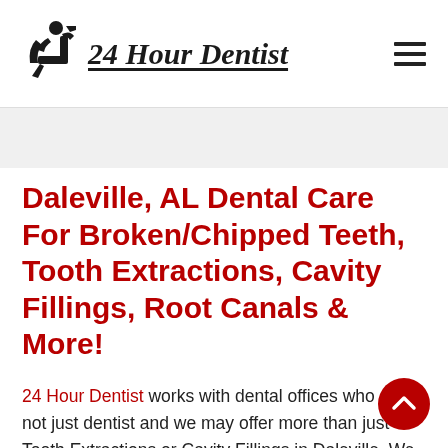24 Hour Dentist
Daleville, AL Dental Care For Broken/Chipped Teeth, Tooth Extractions, Cavity Fillings, Root Canals & More!
24 Hour Dentist works with dental offices who are not just dentist and we may offer more than just Tooth Extractions or Cavity Fillings in Daleville. We can typically also handle most other road service, too! We may work with